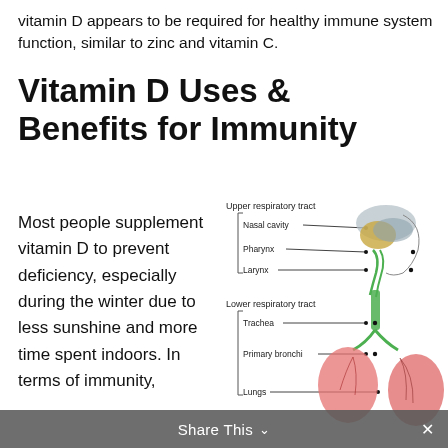vitamin D appears to be required for healthy immune system function, similar to zinc and vitamin C.
Vitamin D Uses & Benefits for Immunity
Most people supplement vitamin D to prevent deficiency, especially during the winter due to less sunshine and more time spent indoors. In terms of immunity,
[Figure (illustration): Anatomical diagram of the respiratory tract showing upper respiratory tract (Nasal cavity, Pharynx, Larynx) and lower respiratory tract (Trachea, Primary bronchi, Lungs) with labeled leader lines pointing to parts of a cross-sectional head and lung illustration.]
Share This  ∨  ×